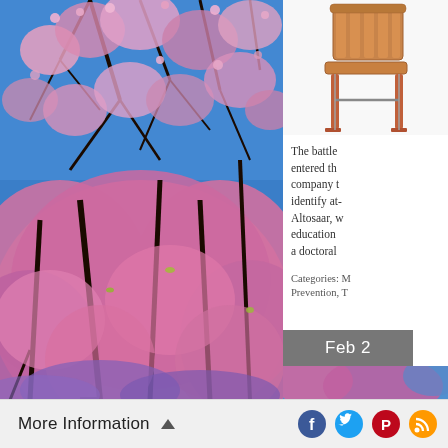[Figure (photo): Cherry blossom trees with pink flowers against a vivid blue sky, viewed from below. Large pink blossoming tree canopy fills most of the frame.]
[Figure (photo): Partial image of a wooden chair with metal legs against a white background, top right corner.]
The battle entered th company identify at- Altosaar, w education a doctoral
Categories: M Prevention, T
Feb 2
[Figure (photo): Partial cherry blossom image visible at lower right corner below the date badge.]
More Information ▲
[Figure (infographic): Row of social media icons: Facebook, Twitter, Pinterest, RSS feed]